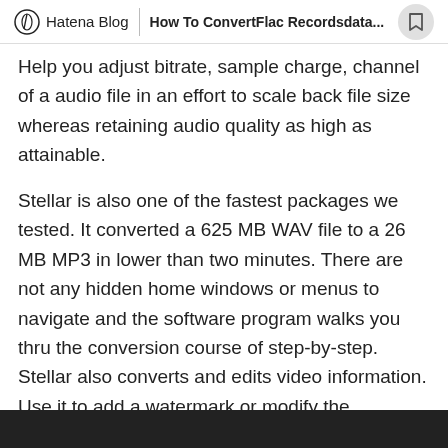Hatena Blog | How To ConvertFlac Recordsdata...
Help you adjust bitrate, sample charge, channel of a audio file in an effort to scale back file size whereas retaining audio quality as high as attainable.
Stellar is also one of the fastest packages we tested. It converted a 625 MB WAV file to a 26 MB MP3 in lower than two minutes. There are not any hidden home windows or menus to navigate and the software program walks you thru the conversion course of step-by-step. Stellar also converts and edits video information. Use it to add a watermark or modify the brightness, distinction and saturation of a wide range of video formats, together with MP4, AVI and WMV. It doesn't have a quantity